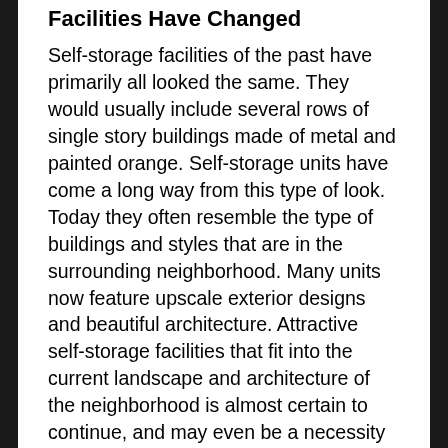Facilities Have Changed
Self-storage facilities of the past have primarily all looked the same. They would usually include several rows of single story buildings made of metal and painted orange. Self-storage units have come a long way from this type of look. Today they often resemble the type of buildings and styles that are in the surrounding neighborhood. Many units now feature upscale exterior designs and beautiful architecture. Attractive self-storage facilities that fit into the current landscape and architecture of the neighborhood is almost certain to continue, and may even be a necessity in some areas. In recent years more lawsuits and angry neighborhood associations have tried to stop the construction of self-storage units near their homes. Building attractive buildings and landscaping is a way to adapt and earn the approval of the surrounding neighborhoods.